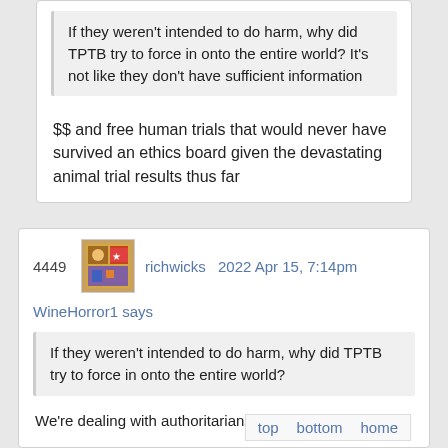If they weren't intended to do harm, why did TPTB try to force in onto the entire world? It's not like they don't have sufficient information
$$ and free human trials that would never have survived an ethics board given the devastating animal trial results thus far
4449  richwicks  2022 Apr 15, 7:14pm
WineHorror1 says
If they weren't intended to do harm, why did TPTB try to force in onto the entire world?
We're dealing with authoritarians.
"DO AS I SAY"
I don't think there is much beyond that. Yes, it n